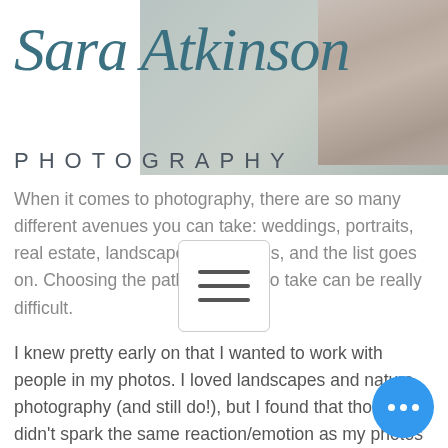[Figure (logo): Sara Atkinson Photography logo with script text over muted gray-green background with a small photo on the right]
PHOTOGRAPHY
When it comes to photography, there are so many different avenues you can take: weddings, portraits, real estate, landscapes, newborns, and the list goes on. Choosing the path you want to take can be really difficult.
I knew pretty early on that I wanted to work with people in my photos. I loved landscapes and nature photography (and still do!), but I found that those didn't spark the same reaction/emotion as my photos with people.
Weddings, engagements, seniors and